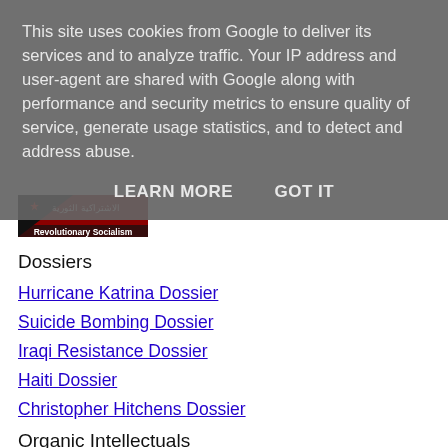This site uses cookies from Google to deliver its services and to analyze traffic. Your IP address and user-agent are shared with Google along with performance and security metrics to ensure quality of service, generate usage statistics, and to detect and address abuse.
LEARN MORE    GOT IT
[Figure (logo): Revolutionary Socialism logo with Arabic text and red/black graphic]
Dossiers
Hurricane Katrina Dossier
Suicide Bombing Dossier
Iraqi Resistance Dossier
Haiti Dossier
Christopher Hitchens Dossier
Organic Intellectuals